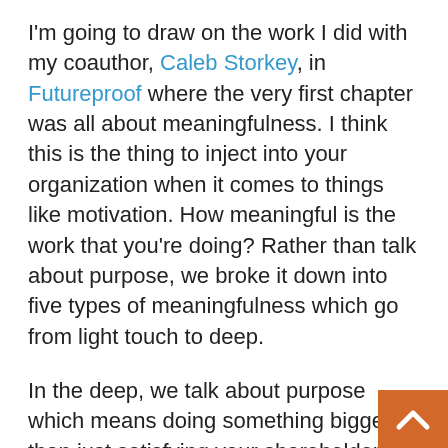I'm going to draw on the work I did with my coauthor, Caleb Storkey, in Futureproof where the very first chapter was all about meaningfulness. I think this is the thing to inject into your organization when it comes to things like motivation. How meaningful is the work that you're doing? Rather than talk about purpose, we broke it down into five types of meaningfulness which go from light touch to deep.
In the deep, we talk about purpose which means doing something bigger than just satisfying your shareholders. How you're making the world a better place through the product and service that you're selling. That's